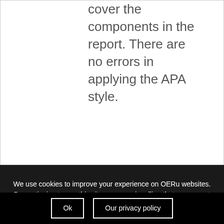cover the components in the report. There are no errors in applying the APA style.
We use cookies to improve your experience on OERu websites. By continuing to use this site, you are signalling that you accept our cookie use.
Ok
Our privacy policy